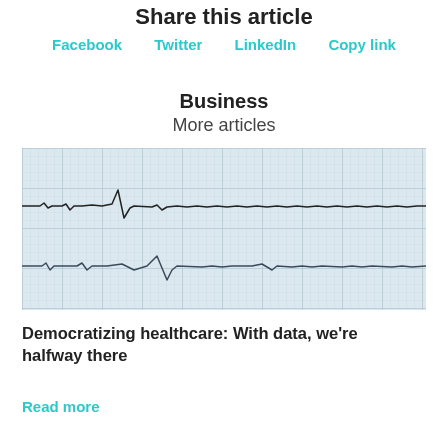Share this article
Facebook   Twitter   LinkedIn   Copy link
Business
More articles
[Figure (photo): Close-up photo of an ECG/EKG paper printout showing heartbeat waveforms on graph paper with blue grid lines, two ECG traces visible.]
Democratizing healthcare: With data, we're halfway there
Read more